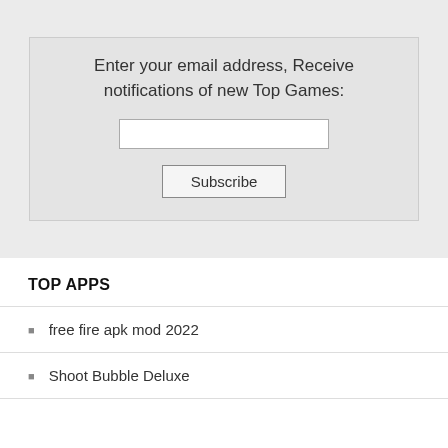Enter your email address, Receive notifications of new Top Games:
TOP APPS
free fire apk mod 2022
Shoot Bubble Deluxe